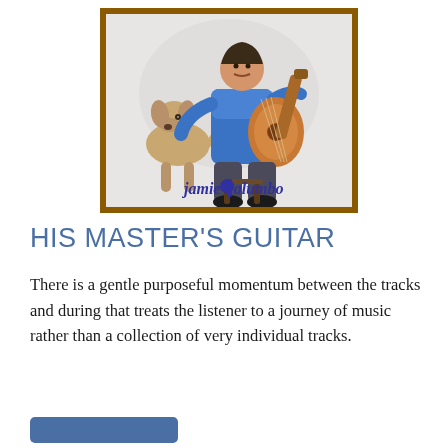[Figure (photo): Album cover photo showing a man in a blue shirt playing a classical guitar while seated, with a dog (golden/beige labrador-type) sitting beside him. A blue handwritten-style signature reads 'jamie Palumbo' at the bottom. Photo is framed with a brown/dark-gold border.]
HIS MASTER'S GUITAR
There is a gentle purposeful momentum between the tracks and during that treats the listener to a journey of music rather than a collection of very individual tracks.